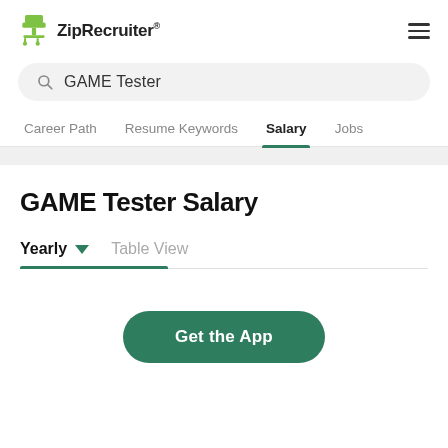ZipRecruiter
GAME Tester
Career Path  Resume Keywords  Salary  Jobs
GAME Tester Salary
Yearly  ▼  Table View
Get the App